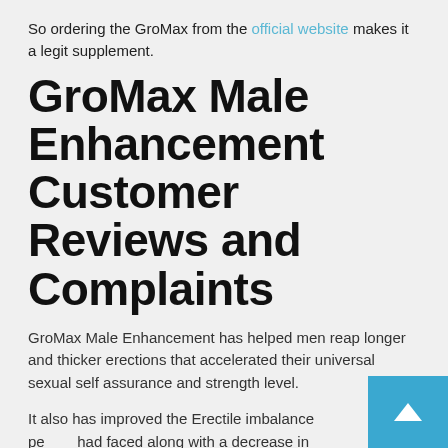So ordering the GroMax from the official website makes it a legit supplement.
GroMax Male Enhancement Customer Reviews and Complaints
GroMax Male Enhancement has helped men reap longer and thicker erections that accelerated their universal sexual self assurance and strength level.
It also has improved the Erectile imbalance pe... had faced along with a decrease in their libido.